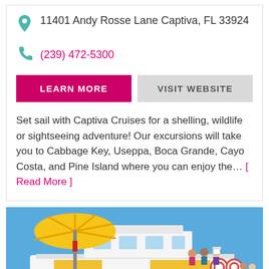11401 Andy Rosse Lane Captiva, FL 33924
(239) 472-5300
LEARN MORE
VISIT WEBSITE
Set sail with Captiva Cruises for a shelling, wildlife or sightseeing adventure! Our excursions will take you to Cabbage Key, Useppa, Boca Grande, Cayo Costa, and Pine Island where you can enjoy the… [ Read More ]
[Figure (photo): A yellow and white tour boat docked at a beach with a large yellow beach umbrella, yellow beach chairs, people on deck, and blue sky in the background.]